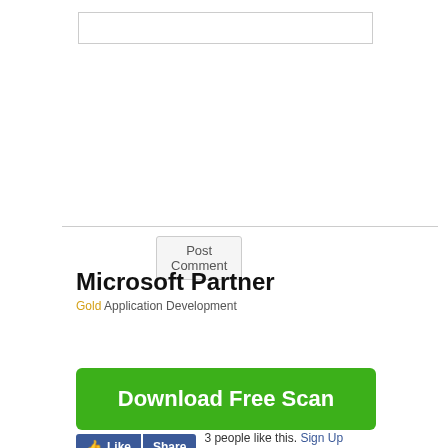[Figure (screenshot): Text input box / comment field (empty)]
[Figure (screenshot): Post Comment button]
[Figure (screenshot): Horizontal divider line]
Microsoft Partner
Gold  Application Development
[Figure (screenshot): Green Download Free Scan button]
[Figure (screenshot): Facebook Like and Share widget with text: 3 people like this. Sign Up to see what your]